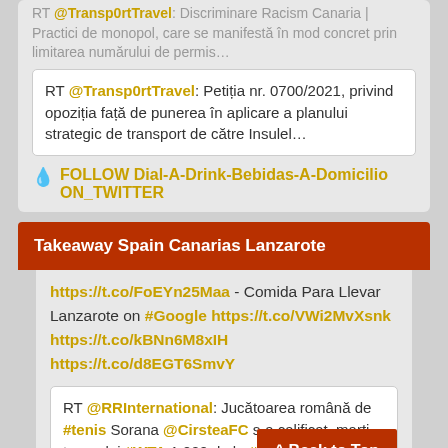RT @Transp0rtTravel: Petiția nr. 0700/2021, privind opoziția față de punerea în aplicare a planului strategic de transport de către Insulel…
💧 FOLLOW Dial-A-Drink-Bebidas-A-Domicilio ON_TWITTER
Takeaway Spain Canarias Lanzarote
https://t.co/FoEYn25Maa - Comida Para Llevar Lanzarote on #Google https://t.co/VWi2MvXsnk https://t.co/kBNn6M8xIH https://t.co/d8EGT6SmvY
RT @RRInternational: Jucătoarea română de #tenis Sorana @CirsteaFC s-a calificat, marți, turneului #WTA 1.000 de la #Cinc…